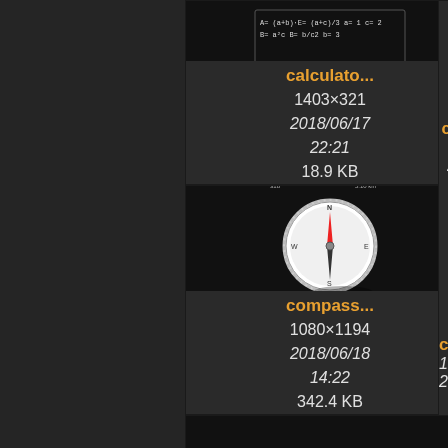[Figure (screenshot): File browser/gallery showing thumbnail images of calculator and compass app screenshots with metadata]
calculato... 1403×321 2018/06/17 22:21 18.9 KB
compass.... 1080×2028 2022/02/14 13:50 336.3 KB
compass... 1080×1194 2018/06/18 14:22 342.4 KB
compass... 1080×430 2021/08/02 14:02 36.2 KB